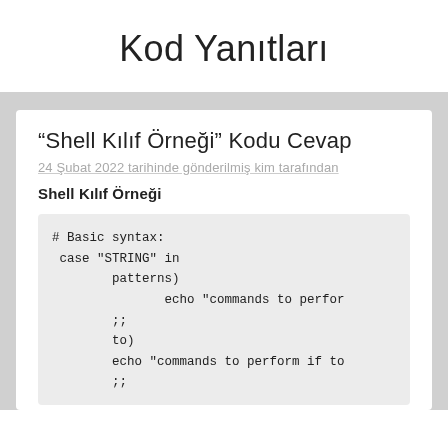Kod Yanıtları
“Shell Kılıf Örneği” Kodu Cevap
24 Şubat 2022 tarihinde gönderilmiş kim tarafından
Shell Kılıf Örneği
# Basic syntax:
 case "STRING" in
        patterns)
               echo "commands to perfor
        ;;
        to)
        echo "commands to perform if to
        ;;